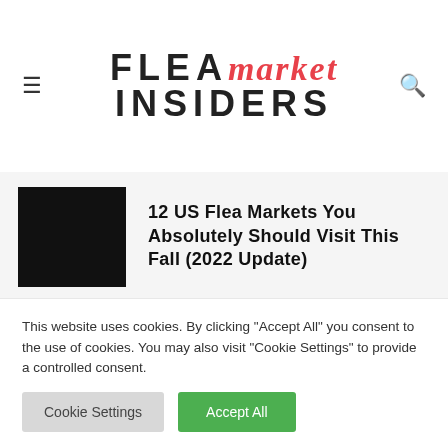FLEA market INSIDERS
12 US Flea Markets You Absolutely Should Visit This Fall (2022 Update)
Best Autumn Flea Markets In Europe (2022
This website uses cookies. By clicking "Accept All" you consent to the use of cookies. You may also visit "Cookie Settings" to provide a controlled consent.